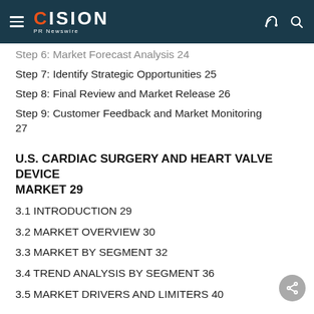CISION PR Newswire
Step 6: Market Forecast Analysis 24
Step 7: Identify Strategic Opportunities 25
Step 8: Final Review and Market Release 26
Step 9: Customer Feedback and Market Monitoring 27
U.S. CARDIAC SURGERY AND HEART VALVE DEVICE MARKET 29
3.1 INTRODUCTION 29
3.2 MARKET OVERVIEW 30
3.3 MARKET BY SEGMENT 32
3.4 TREND ANALYSIS BY SEGMENT 36
3.5 MARKET DRIVERS AND LIMITERS 40